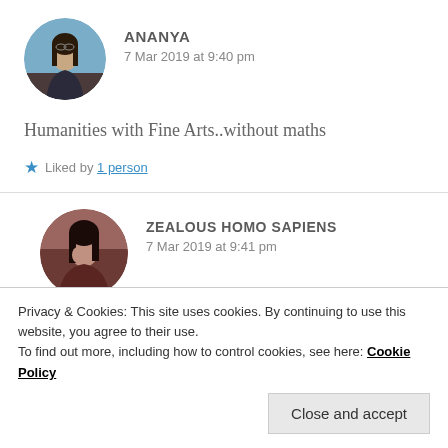[Figure (photo): Circular avatar photo of Ananya, a young woman with glasses and long hair, outdoors with blue sky background]
ANANYA
7 Mar 2019 at 9:40 pm
Humanities with Fine Arts..without maths
Liked by 1 person
[Figure (photo): Circular avatar photo of Zealous Homo Sapiens, a person with dark hair against dark background]
ZEALOUS HOMO SAPIENS
7 Mar 2019 at 9:41 pm
Privacy & Cookies: This site uses cookies. By continuing to use this website, you agree to their use.
To find out more, including how to control cookies, see here: Cookie Policy
Close and accept